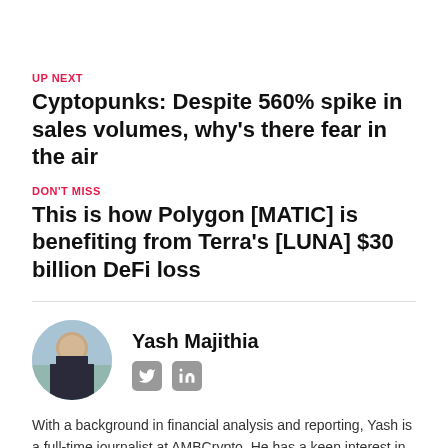UP NEXT
Cyptopunks: Despite 560% spike in sales volumes, why's there fear in the air
DON'T MISS
This is how Polygon [MATIC] is benefiting from Terra's [LUNA] $30 billion DeFi loss
Yash Majithia
[Figure (photo): Circular avatar photo of Yash Majithia]
With a background in financial analysis and reporting, Yash is a full-time journalist at AMBCrypto. He has a keen interest in blockchain technology, with a primary focus on technical analysis of cryptocurrencies.